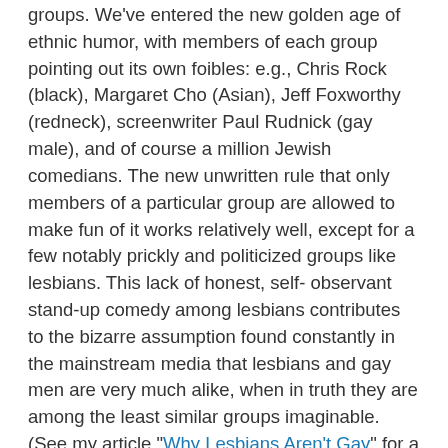groups. We've entered the new golden age of ethnic humor, with members of each group pointing out its own foibles: e.g., Chris Rock (black), Margaret Cho (Asian), Jeff Foxworthy (redneck), screenwriter Paul Rudnick (gay male), and of course a million Jewish comedians. The new unwritten rule that only members of a particular group are allowed to make fun of it works relatively well, except for a few notably prickly and politicized groups like lesbians. This lack of honest, self- observant stand-up comedy among lesbians contributes to the bizarre assumption found constantly in the mainstream media that lesbians and gay men are very much alike, when in truth they are among the least similar groups imaginable. (See my article "Why Lesbians Aren't Gay" for a table of several dozen differences). Thus, you can learn more about race, ethnicity, sexual orientation, etc. today from watching late-night HBO comedy series like Chris Rock, Tracey [Ullman] Takes On, and Arliss than from reading New York Times editorials.
"Serious" journalists tend to believe that "funny" and "serious" are by definition mutually exclusive, when an evolutionary perspective would suggest that much of what is funny to us is funny because it's serious.